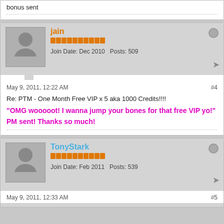bonus sent
jain
Join Date: Dec 2010   Posts: 509
May 9, 2011, 12:22 AM   #4
Re: PTM - One Month Free VIP x 5 aka 1000 Credits!!!!
"OMG wooooot! I wanna jump your bones for that free VIP yo!"
PM sent! Thanks so much!
TonyStark
Join Date: Feb 2011   Posts: 539
May 9, 2011, 12:33 AM   #5